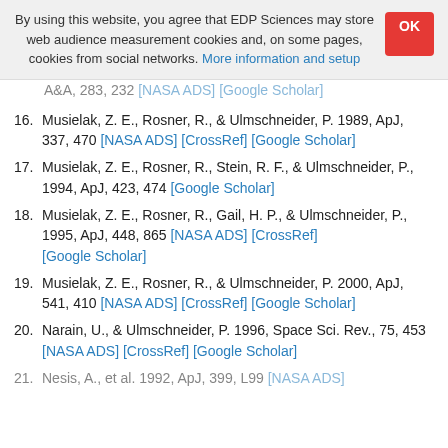By using this website, you agree that EDP Sciences may store web audience measurement cookies and, on some pages, cookies from social networks. More information and setup
A&A, 283, 232 [NASA ADS] [Google Scholar]
16. Musielak, Z. E., Rosner, R., & Ulmschneider, P. 1989, ApJ, 337, 470 [NASA ADS] [CrossRef] [Google Scholar]
17. Musielak, Z. E., Rosner, R., Stein, R. F., & Ulmschneider, P., 1994, ApJ, 423, 474 [Google Scholar]
18. Musielak, Z. E., Rosner, R., Gail, H. P., & Ulmschneider, P., 1995, ApJ, 448, 865 [NASA ADS] [CrossRef] [Google Scholar]
19. Musielak, Z. E., Rosner, R., & Ulmschneider, P. 2000, ApJ, 541, 410 [NASA ADS] [CrossRef] [Google Scholar]
20. Narain, U., & Ulmschneider, P. 1996, Space Sci. Rev., 75, 453 [NASA ADS] [CrossRef] [Google Scholar]
21. Nesis, A., et al. 1992, ApJ, 399, L99 [NASA ADS]